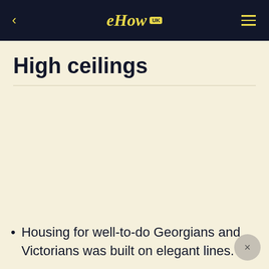eHow UK
High ceilings
Housing for well-to-do Georgians and Victorians was built on elegant lines.